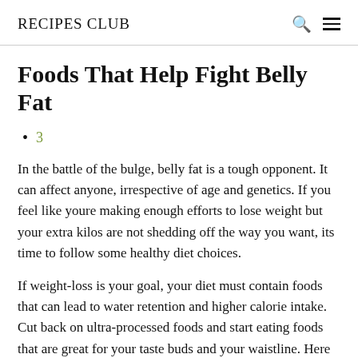RECIPES CLUB
Foods That Help Fight Belly Fat
3
In the battle of the bulge, belly fat is a tough opponent. It can affect anyone, irrespective of age and genetics. If you feel like youre making enough efforts to lose weight but your extra kilos are not shedding off the way you want, its time to follow some healthy diet choices.
If weight-loss is your goal, your diet must contain foods that can lead to water retention and higher calorie intake. Cut back on ultra-processed foods and start eating foods that are great for your taste buds and your waistline. Here is a list of healthy